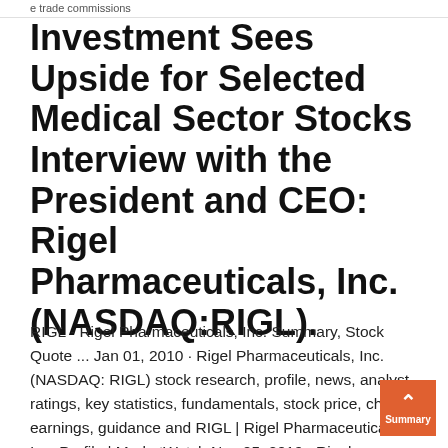e trade commissions
Investment Sees Upside for Selected Medical Sector Stocks Interview with the President and CEO: Rigel Pharmaceuticals, Inc. (NASDAQ:RIGL).
RIGL - Rigel Pharmaceuticals, Inc. Summary, Stock Quote ... Jan 01, 2010 · Rigel Pharmaceuticals, Inc. (NASDAQ: RIGL) stock research, profile, news, analyst ratings, key statistics, fundamentals, stock price, charts, earnings, guidance and RIGL | Rigel Pharmaceuticals Inc. Profile | MarketWatch Nov 05, 2019 · Rigel Pharmaceuticals Inc. company facts, information and stock details by MarketWatch. View rigl business summary and other industry information. Rigel Pharmaceuticals Inc.